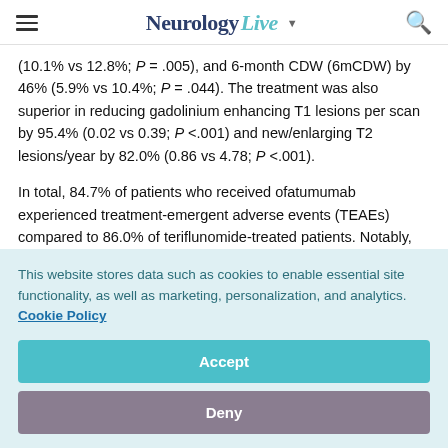NeurologyLive
(10.1% vs 12.8%; P = .005), and 6-month CDW (6mCDW) by 46% (5.9% vs 10.4%; P = .044). The treatment was also superior in reducing gadolinium enhancing T1 lesions per scan by 95.4% (0.02 vs 0.39; P <.001) and new/enlarging T2 lesions/year by 82.0% (0.86 vs 4.78; P <.001).
In total, 84.7% of patients who received ofatumumab experienced treatment-emergent adverse events (TEAEs) compared to 86.0% of teriflunomide-treated patients. Notably,
This website stores data such as cookies to enable essential site functionality, as well as marketing, personalization, and analytics. Cookie Policy
Accept
Deny